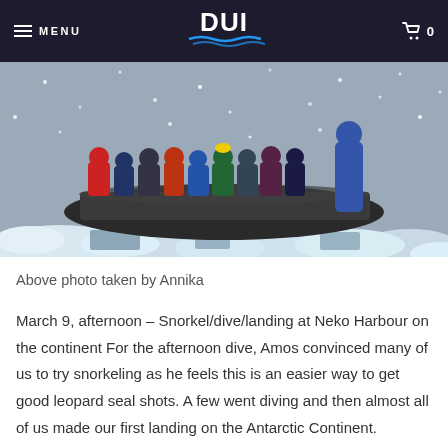MENU  DUI  0
[Figure (photo): Group of people in colorful cold-weather gear riding a large inflatable Zodiac boat through icy Antarctic waters with snow falling and chunks of ice surrounding the boat.]
Above photo taken by Annika
March 9, afternoon – Snorkel/dive/landing at Neko Harbour on the continent For the afternoon dive, Amos convinced many of us to try snorkeling as he feels this is an easier way to get good leopard seal shots. A few went diving and then almost all of us made our first landing on the Antarctic Continent. Despite very challenging weather, everyone